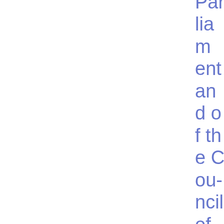Parliament and of the Council of 4 July 2012 on OTC Derivatives, CCPs and Trade Repositories